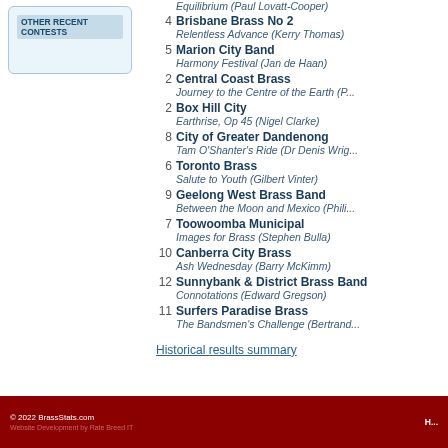OTHER RECENT CONTESTS
4  Brisbane Brass No 2 / Relentless Advance (Kerry Thomas)
5  Marion City Band / Harmony Festival (Jan de Haan)
2  Central Coast Brass / Journey to the Centre of the Earth (P...)
2  Box Hill City / Earthrise, Op 45 (Nigel Clarke)
8  City of Greater Dandenong / Tam O'Shanter's Ride (Dr Denis Wrig...)
6  Toronto Brass / Salute to Youth (Gilbert Vinter)
9  Geelong West Brass Band / Between the Moon and Mexico (Phili...)
7  Toowoomba Municipal / Images for Brass (Stephen Bulla)
10  Canberra City Brass / Ash Wednesday (Barry McKimm)
12  Sunnybank & District Brass Band / Connotations (Edward Gregson)
11  Surfers Paradise Brass / The Bandsmen's Challenge (Bertrand...)
Historical results summary
© 2022 BrassStats.com  Website Development by Rate Breed IT